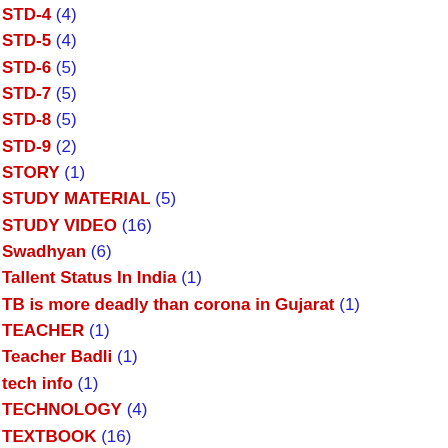STD-4 (4)
STD-5 (4)
STD-6 (5)
STD-7 (5)
STD-8 (5)
STD-9 (2)
STORY (1)
STUDY MATERIAL (5)
STUDY VIDEO (16)
Swadhyan (6)
Tallent Status In India (1)
TB is more deadly than corona in Gujarat (1)
TEACHER (1)
Teacher Badli (1)
tech info (1)
TECHNOLOGY (4)
TEXTBOOK (16)
The Best Money Making Apps (1)
The Most Spoken Languages in the World (1)